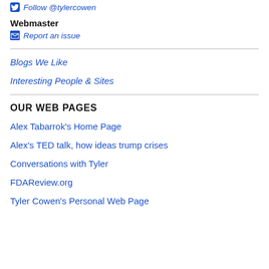Follow @tylercowen
Webmaster
Report an issue
Blogs We Like
Interesting People & Sites
OUR WEB PAGES
Alex Tabarrok's Home Page
Alex's TED talk, how ideas trump crises
Conversations with Tyler
FDAReview.org
Tyler Cowen's Personal Web Page